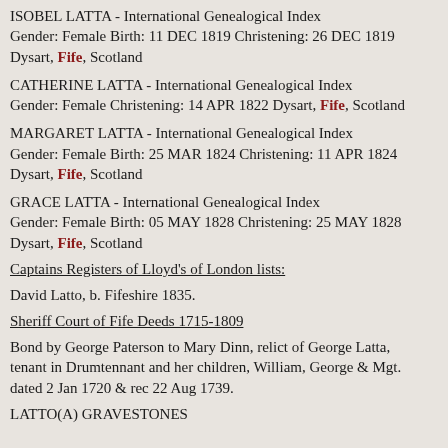ISOBEL LATTA - International Genealogical Index Gender: Female Birth: 11 DEC 1819 Christening: 26 DEC 1819 Dysart, Fife, Scotland
CATHERINE LATTA - International Genealogical Index Gender: Female Christening: 14 APR 1822 Dysart, Fife, Scotland
MARGARET LATTA - International Genealogical Index Gender: Female Birth: 25 MAR 1824 Christening: 11 APR 1824 Dysart, Fife, Scotland
GRACE LATTA - International Genealogical Index Gender: Female Birth: 05 MAY 1828 Christening: 25 MAY 1828 Dysart, Fife, Scotland
Captains Registers of Lloyd's of London lists:
David Latto, b. Fifeshire 1835.
Sheriff Court of Fife Deeds 1715-1809
Bond by George Paterson to Mary Dinn, relict of George Latta, tenant in Drumtennant and her children, William, George & Mgt. dated 2 Jan 1720 & rec 22 Aug 1739.
LATTO(A) GRAVESTONES